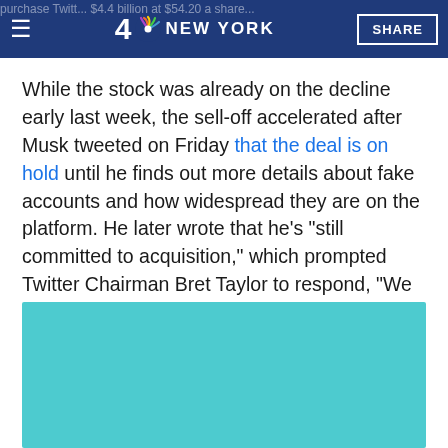4 NBC NEW YORK | SHARE
While the stock was already on the decline early last week, the sell-off accelerated after Musk tweeted on Friday that the deal is on hold until he finds out more details about fake accounts and how widespread they are on the platform. He later wrote that he's "still committed to acquisition," which prompted Twitter Chairman Bret Taylor to respond, "We are too."
[Figure (photo): A teal/turquoise colored media embed block, partially visible at the bottom of the page.]